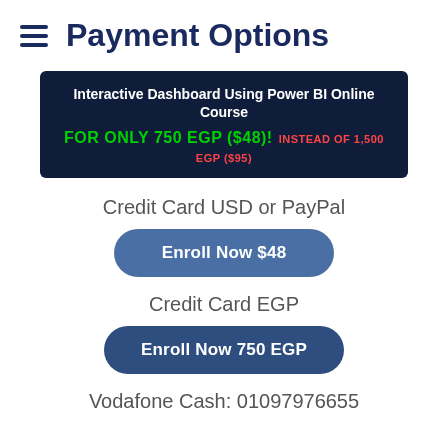Payment Options
[Figure (infographic): Dark navy banner: 'Interactive Dashboard Using Power BI Online Course FOR ONLY 750 EGP ($48)! INSTEAD OF 1,500 EGP ($95)']
Credit Card USD or PayPal
Enroll Now $48
Credit Card EGP
Enroll Now 750 EGP
Vodafone Cash: 01097976655